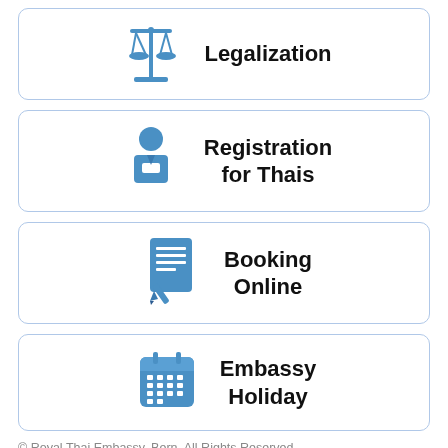[Figure (illustration): Blue scales of justice icon next to Legalization text]
[Figure (illustration): Blue person/officer icon next to Registration for Thais text]
[Figure (illustration): Blue document/pen icon next to Booking Online text]
[Figure (illustration): Blue calendar icon next to Embassy Holiday text]
© Royal Thai Embassy, Bern. All Rights Reserved.